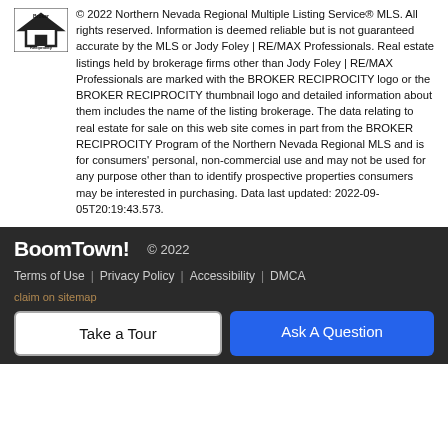© 2022 Northern Nevada Regional Multiple Listing Service® MLS. All rights reserved. Information is deemed reliable but is not guaranteed accurate by the MLS or Jody Foley | RE/MAX Professionals. Real estate listings held by brokerage firms other than Jody Foley | RE/MAX Professionals are marked with the BROKER RECIPROCITY logo or the BROKER RECIPROCITY thumbnail logo and detailed information about them includes the name of the listing brokerage. The data relating to real estate for sale on this web site comes in part from the BROKER RECIPROCITY Program of the Northern Nevada Regional MLS and is for consumers' personal, non-commercial use and may not be used for any purpose other than to identify prospective properties consumers may be interested in purchasing. Data last updated: 2022-09-05T20:19:43.573.
BoomTown! © 2022
Terms of Use | Privacy Policy | Accessibility | DMCA claim on sitemap
Take a Tour
Ask A Question